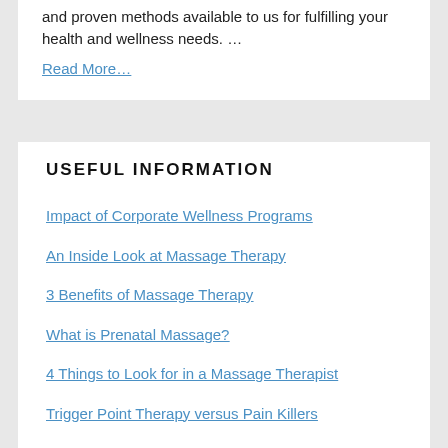and proven methods available to us for fulfilling your health and wellness needs. …
Read More…
USEFUL INFORMATION
Impact of Corporate Wellness Programs
An Inside Look at Massage Therapy
3 Benefits of Massage Therapy
What is Prenatal Massage?
4 Things to Look for in a Massage Therapist
Trigger Point Therapy versus Pain Killers